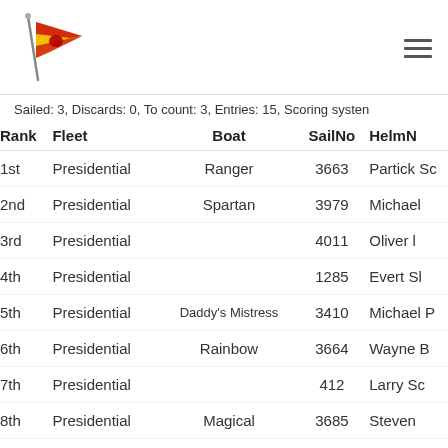[Figure (logo): Sailing club flag logo - red and gold pennant with bell emblem on a pole]
Sailed: 3, Discards: 0, To count: 3, Entries: 15, Scoring system
| Rank | Fleet | Boat | SailNo | HelmN |
| --- | --- | --- | --- | --- |
| 1st | Presidential | Ranger | 3663 | Partick Sc |
| 2nd | Presidential | Spartan | 3979 | Michael |
| 3rd | Presidential |  | 4011 | Oliver l |
| 4th | Presidential |  | 1285 | Evert Sl |
| 5th | Presidential | Daddy's Mistress | 3410 | Michael P |
| 6th | Presidential | Rainbow | 3664 | Wayne B |
| 7th | Presidential |  | 412 | Larry Sc |
| 8th | Presidential | Magical | 3685 | Steven |
| 9th | Presidential | Spirit | 4017 | Louis Pl |